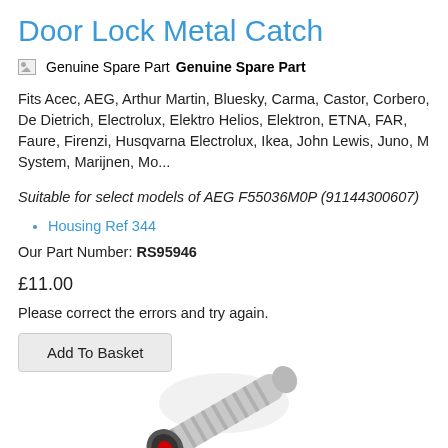Door Lock Metal Catch
Genuine Spare Part  Genuine Spare Part
Fits Acec, AEG, Arthur Martin, Bluesky, Carma, Castor, Corbero, De Dietrich, Electrolux, Elektro Helios, Elektron, ETNA, FAR, Faure, Firenzi, Husqvarna Electrolux, Ikea, John Lewis, Juno, M System, Marijnen, Mo...
Suitable for select models of AEG F55036M0P (91144300607)
Housing Ref 344
Our Part Number: RS95946
£11.00
Please correct the errors and try again.
[Figure (photo): Product image showing a grey cable or hose component of the door lock catch]